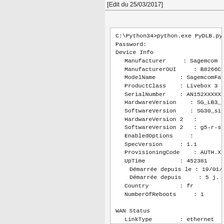[Edit du 25/03/2017]
[Figure (screenshot): Terminal output showing Python script PyDLB.py execution with device info including Manufacturer: Sagemcom, ManufacturerOUI: B8266C, ModelName: SagemcomFast39, ProductClass: Livebox 3, SerialNumber: AN152XXXXXXXXX, HardwareVersion: SG_LB3_1.2.1, SoftwareVersion: SG30_sip-fr-5.21., HardwareVersion 2:, SoftwareVersion 2: g5-r-sip-fr, EnabledOptions:, SpecVersion: 1.1, ProvisioningCode: AUTH.XXXX.XXX, UpTime: 452381, Démarrée depuis le: 19/01/2017 18:5, Démarrée depuis: 5 j. 5 h. 39 mn. 4, Country: fr, NumberOfReboots: 1, WAN Status, LinkType: ethernet, LinkState: up]